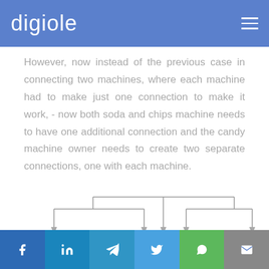digiole
However, now instead of the previous case in connecting two machines, where each machine had to make just one connection to make it work, - now both soda and chips machine needs to have one additional connection and the candy machine owner needs to create two separate connections, one with each machine.
[Figure (flowchart): A tree/hierarchy diagram showing connections branching downward with arrows, depicting relationships between machines. A top horizontal line branches into two sub-trees, each with further branches ending in arrows pointing down.]
f in [telegram] [twitter] [whatsapp] [email]